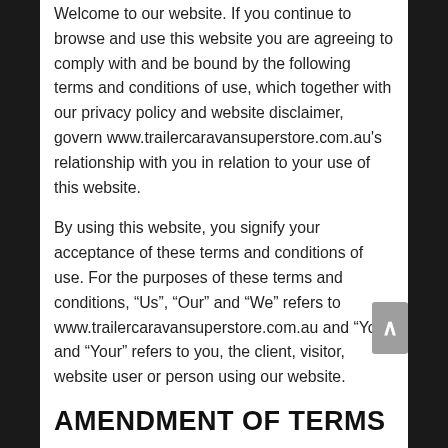Welcome to our website. If you continue to browse and use this website you are agreeing to comply with and be bound by the following terms and conditions of use, which together with our privacy policy and website disclaimer, govern www.trailercaravansuperstore.com.au's relationship with you in relation to your use of this website.
By using this website, you signify your acceptance of these terms and conditions of use. For the purposes of these terms and conditions, “Us”, “Our” and “We” refers to www.trailercaravansuperstore.com.au and “You” and “Your” refers to you, the client, visitor, website user or person using our website.
AMENDMENT OF TERMS
We reserve the right to change, modify, add or remove portions of these terms at any time. Please check these terms regularly prior to using our website to